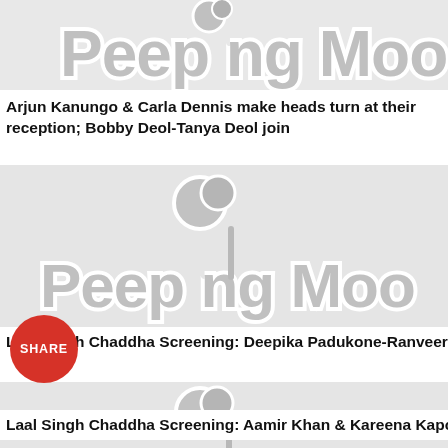[Figure (screenshot): Partially visible Peeping Moon logo watermark on gray background thumbnail]
Arjun Kanungo & Carla Dennis make heads turn at their reception; Bobby Deol-Tanya Deol join
[Figure (screenshot): Peeping Moon logo watermark on gray background thumbnail]
Laal Singh Chaddha Screening: Deepika Padukone-Ranveer Singh iere
[Figure (screenshot): Peeping Moon logo watermark on gray background thumbnail]
Laal Singh Chaddha Screening: Aamir Khan & Kareena Kapoor Kha Junaid Khan